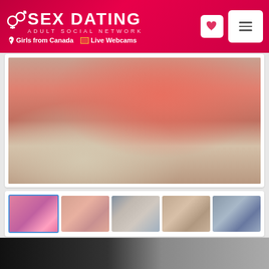SEX DATING — ADULT SOCIAL NETWORK | Girls from Canada | Live Webcams
[Figure (photo): Main profile photo of a person wearing a pink top and blue shorts with white sneakers]
[Figure (photo): Row of five thumbnail photos from a user profile gallery]
[Figure (photo): Bottom strip showing partial preview of another image]